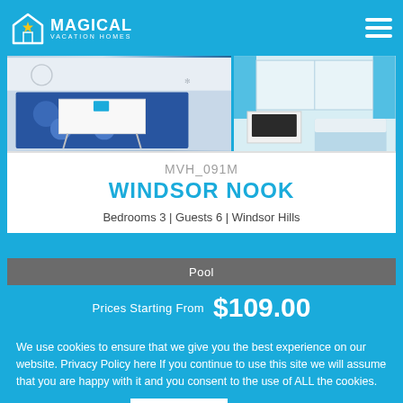MAGICAL VACATION HOMES
[Figure (photo): Two interior property photos showing a living room with blue geometric rug and white coffee table on the left, and a bedroom with teal curtains and white furniture on the right]
MVH_091M
WINDSOR NOOK
Bedrooms 3  |  Guests 6  |  Windsor Hills
Pool
Prices Starting From  $109.00
We use cookies to ensure that we give you the best experience on our website. Privacy Policy here If you continue to use this site we will assume that you are happy with it and you consent to the use of ALL the cookies.
Cookie settings
ACCEPT